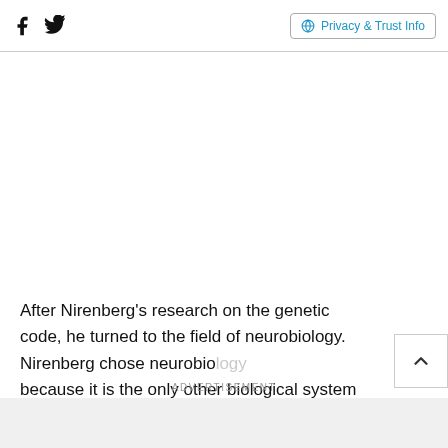Facebook Twitter | Privacy & Trust Info
After Nirenberg's research on the genetic code, he turned to the field of neurobiology. Nirenberg chose neurobiology because it is the only other biological system besides the genetic code that is designed for information processing
ADVERTISEMENT